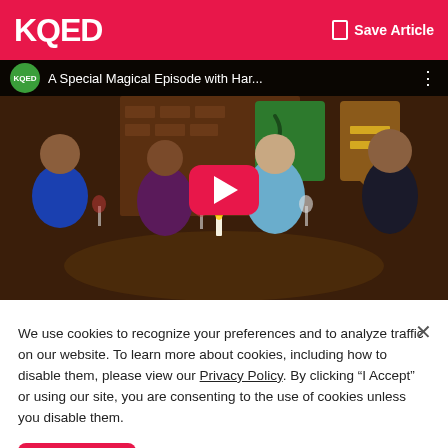KQED  Save Article
[Figure (screenshot): YouTube video thumbnail showing KQED video titled 'A Special Magical Episode with Har...' with four people sitting around a table holding wine glasses in a Harry Potter themed set. A red YouTube play button is overlaid in the center.]
We use cookies to recognize your preferences and to analyze traffic on our website. To learn more about cookies, including how to disable them, please view our Privacy Policy. By clicking “I Accept” or using our site, you are consenting to the use of cookies unless you disable them.
I Accept